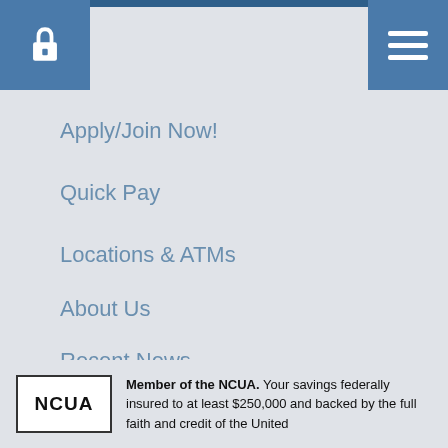[Figure (screenshot): Blue header bar with a lock icon button on the left and a hamburger menu button on the right]
Apply/Join Now!
Quick Pay
Locations & ATMs
About Us
Recent News
Contact Us
Leave a Message
Ac
Member of the NCUA. Your savings federally insured to at least $250,000 and backed by the full faith and credit of the United